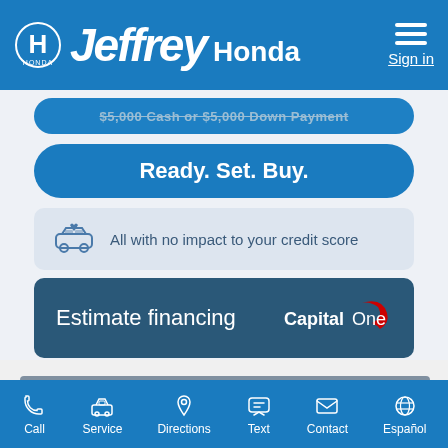Jeffrey Honda - Sign in
$5,000 Cash or $5,000 Down Payment
Ready. Set. Buy.
All with no impact to your credit score
Estimate financing
[Figure (logo): Capital One logo]
Call | Service | Directions | Text | Contact | Español